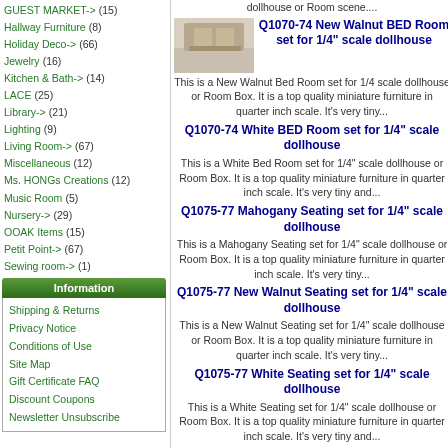GUEST MARKET-> (15)
Hallway Furniture (8)
Holiday Deco-> (66)
Jewelry (16)
Kitchen & Bath-> (14)
LACE (25)
Library-> (21)
Lighting (9)
Living Room-> (67)
Miscellaneous (12)
Ms. HONGs Creations (12)
Music Room (5)
Nursery-> (29)
OOAK Items (15)
Petit Point-> (67)
Sewing room-> (1)
Unfinished Items (6)
Walls (3)
New Products ...
All Products ...
Information
Shipping & Returns
Privacy Notice
Conditions of Use
Site Map
Gift Certificate FAQ
Discount Coupons
Newsletter Unsubscribe
dollhouse or Room scene....
[Figure (photo): Product photo of dollhouse bed room furniture]
Q1070-74 New Walnut BED Room set for 1/4" scale dollhouse
This is a New Walnut Bed Room set for 1/4 scale dollhouse or Room Box. It is a top quality miniature furniture in quarter inch scale. It's very tiny...
Q1070-74 White BED Room set for 1/4" scale dollhouse
This is a White Bed Room set for 1/4" scale dollhouse or Room Box. It is a top quality miniature furniture in quarter inch scale. It's very tiny and...
Q1075-77 Mahogany Seating set for 1/4" scale dollhouse
This is a Mahogany Seating set for 1/4" scale dollhouse or Room Box. It is a top quality miniature furniture in quarter inch scale. It's very tiny...
Q1075-77 New Walnut Seating set for 1/4" scale dollhouse
This is a New Walnut Seating set for 1/4" scale dollhouse or Room Box. It is a top quality miniature furniture in quarter inch scale. It's very tiny...
Q1075-77 White Seating set for 1/4" scale dollhouse
This is a White Seating set for 1/4" scale dollhouse or Room Box. It is a top quality miniature furniture in quarter inch scale. It's very tiny and...
Q2300-04 Mahogany Dining Room set for 1/4" scale